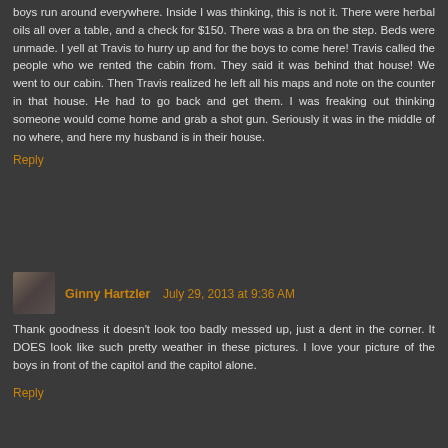boys run around everywhere. Inside I was thinking, this is not it. There were herbal oils all over a table, and a check for $150. There was a bra on the step. Beds were unmade. I yell at Travis to hurry up and for the boys to come here! Travis called the people who we rented the cabin from. They said it was behind that house! We went to our cabin. Then Travis realized he left all his maps and note on the counter in that house. He had to go back and get them. I was freaking out thinking someone would come home and grab a shot gun. Seriously it was in the middle of no where, and here my husband is in their house.
Reply
Ginny Hartzler  July 29, 2013 at 9:36 AM
Thank goodness it doesn't look too badly messed up, just a dent in the corner. It DOES look like such pretty weather in these pictures. I love your picture of the boys in front of the capitol and the capitol alone.
Reply